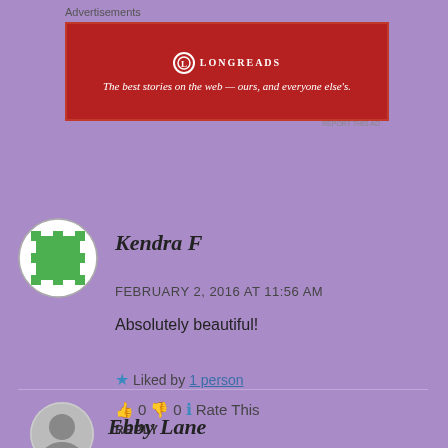Advertisements
[Figure (other): Longreads advertisement banner with red background and text: The best stories on the web — ours, and everyone else's.]
[Figure (other): Avatar for Kendra F — green square pixel art icon with circular border]
Kendra F
FEBRUARY 2, 2016 AT 11:56 AM
Absolutely beautiful!
Liked by 1 person
👍 0 👎 0 ℹ Rate This
REPLY
[Figure (photo): Avatar photo for Ebby Lane — grayscale portrait]
Ebby Lane